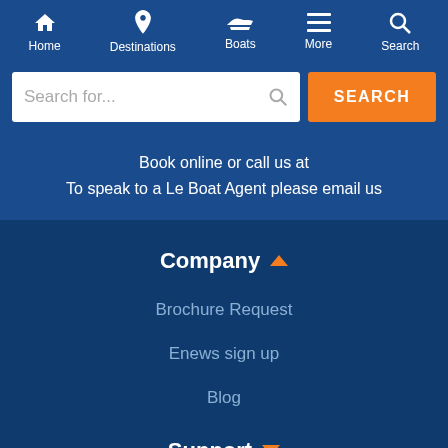Home | Destinations | Boats | More | Search
[Figure (screenshot): Website navigation bar with icons for Home, Destinations, Boats, More, Search on a blue background]
[Figure (screenshot): Search input field with placeholder 'Search for...' and orange SEARCH button]
Book online or call us at
To speak to a Le Boat Agent please email us
Company
Brochure Request
Enews sign up
Blog
Support